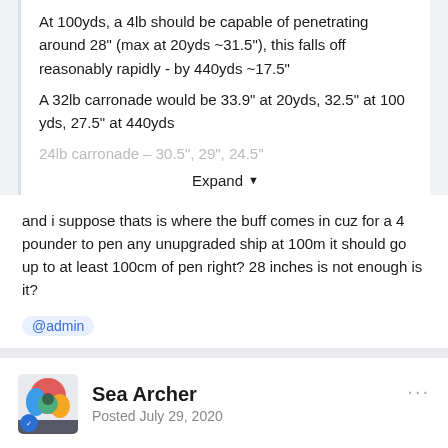At 100yds, a 4lb should be capable of penetrating around 28" (max at 20yds ~31.5"), this falls off reasonably rapidly - by 440yds ~17.5"
A 32lb carronade would be 33.9" at 20yds, 32.5" at 100 yds, 27.5" at 440yds
24lb carronade – 30.5", 29", 24.5"
Expand
and i suppose thats is where the buff comes in cuz for a 4 pounder to pen any unupgraded ship at 100m it should go up to at least 100cm of pen right? 28 inches is not enough is it?
@admin
Sea Archer
Posted July 29, 2020
I think it is a goos idea to rework the gunnery.